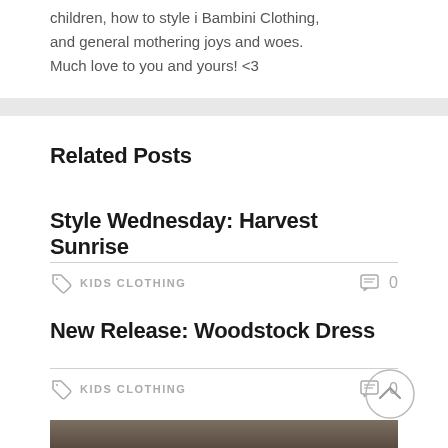children, how to style i Bambini Clothing, and general mothering joys and woes. Much love to you and yours! <3
Related Posts
Style Wednesday: Harvest Sunrise
KIDS CLOTHING   0
New Release: Woodstock Dress
KIDS CLOTHING   0
[Figure (photo): Partial photo visible at bottom of page]